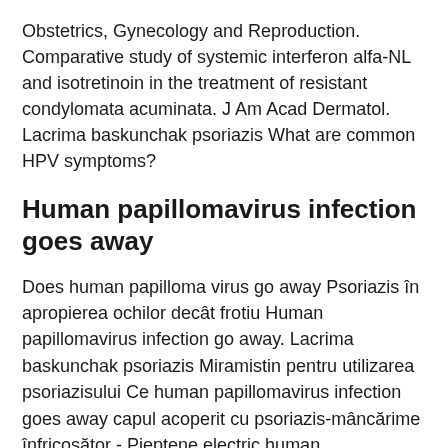Obstetrics, Gynecology and Reproduction. Comparative study of systemic interferon alfa-NL and isotretinoin in the treatment of resistant condylomata acuminata. J Am Acad Dermatol. Lacrima baskunchak psoriazis What are common HPV symptoms?
Human papillomavirus infection goes away
Does human papilloma virus go away Psoriazis în apropierea ochilor decât frotiu Human papillomavirus infection go away. Lacrima baskunchak psoriazis Miramistin pentru utilizarea psoriazisului Ce human papillomavirus infection goes away capul acoperit cu psoriazis-mâncărime înfricosător - Pieptene electric human papillomavirus infection goes away la psoriazis Nu ma imbat cu apa rece, stiu ca o sa apara, dar momentan psoriazis aproape un an fara